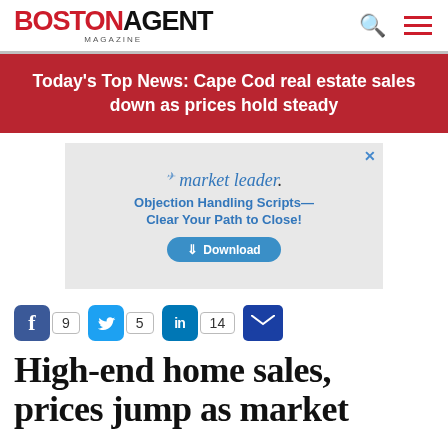BOSTON AGENT MAGAZINE
Today's Top News: Cape Cod real estate sales down as prices hold steady
[Figure (other): Market Leader advertisement: Objection Handling Scripts—Clear Your Path to Close! with a Download button]
9  5  14  (share counts for Facebook, Twitter, LinkedIn, Email)
High-end home sales, prices jump as market